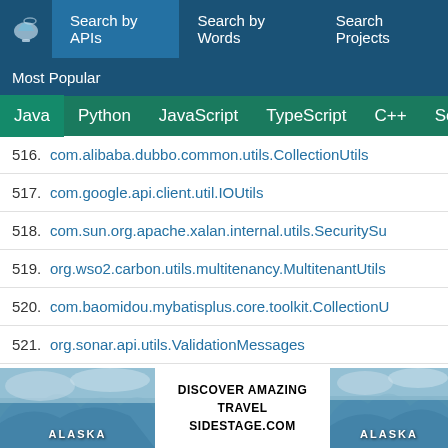Search by APIs | Search by Words | Search Projects
Most Popular
Java | Python | JavaScript | TypeScript | C++ | Scala
516. com.alibaba.dubbo.common.utils.CollectionUtils
517. com.google.api.client.util.IOUtils
518. com.sun.org.apache.xalan.internal.utils.SecuritySu...
519. org.wso2.carbon.utils.multitenancy.MultitenantUtils
520. com.baomidou.mybatisplus.core.toolkit.CollectionU...
521. org.sonar.api.utils.ValidationMessages
522. com.github.mikephil.charting.utils.Transformer
523. me.imid.swipebacklayout.lib.Utils
524. com.alibaba.dubbo.common.utils.ConcurrentHashS...
[Figure (photo): Advertisement banner: Alaska travel ad with glacier/ice imagery on left and right, text 'DISCOVER AMAZING TRAVEL SIDESTAGE.COM' in center on white background]